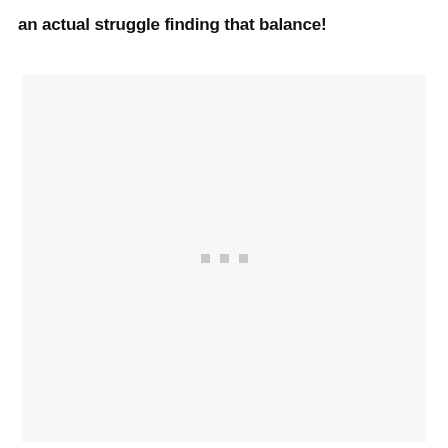an actual struggle finding that balance!
[Figure (photo): A light gray placeholder image area with three small gray squares centered in the middle, indicating a loading or missing image state.]